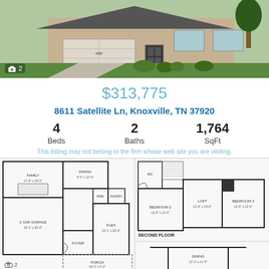[Figure (photo): Exterior photo of a brick single-family home with two-car garage, green lawn, and landscaping]
$313,775
8611 Satellite Ln, Knoxville, TN 37920
4 Beds   2 Baths   1,764 SqFt
This listing may not belong to the firm whose web site you are visiting.
[Figure (engineering-diagram): Floor plan showing first floor with Family room (17'-6" x 19'-2"), Dining (9'-0" x 10'-4"), 2 Car Garage (20'-1" x 20'-0"), Foyer, Flex (12'-1" x 20'-6"), PDR, Pantry, and Porch (19'-2" x 4'-2")]
[Figure (engineering-diagram): Second floor plan showing Bedroom 2 (12'-5" x 12'-0"), Loft (11'-4" x 13'-0"), Bedroom 3 (12'-0" x 12'-4"), WC, and stairs. Label: SECOND FLOOR. Below: partial third floor plan showing Dining (12'-1" x 11'-0")]